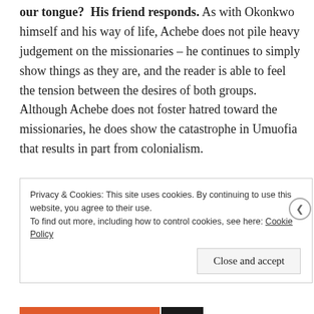our tongue? His friend responds. As with Okonkwo himself and his way of life, Achebe does not pile heavy judgement on the missionaries – he continues to simply show things as they are, and the reader is able to feel the tension between the desires of both groups. Although Achebe does not foster hatred toward the missionaries, he does show the catastrophe in Umuofia that results in part from colonialism.
Privacy & Cookies: This site uses cookies. By continuing to use this website, you agree to their use. To find out more, including how to control cookies, see here: Cookie Policy
Close and accept